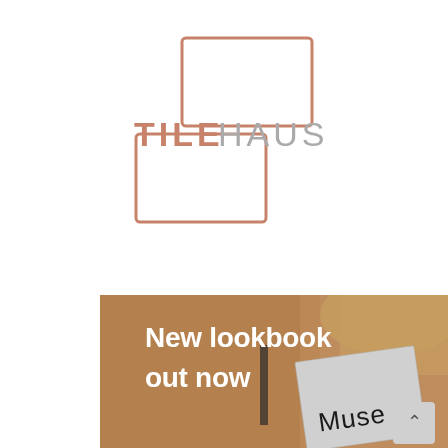[Figure (logo): TILEHAUS logo with two overlapping rounded rectangles (one top-right, one bottom-left) in terracotta/rose-copper color, with the text TILE in terracotta and HAUS in light grey]
[Figure (photo): Photo of a woman in a camel coat holding a grey book/magazine labeled 'Muse', with overlaid white bold text reading 'New lookbook out now' and a scroll-up button in the bottom right corner]